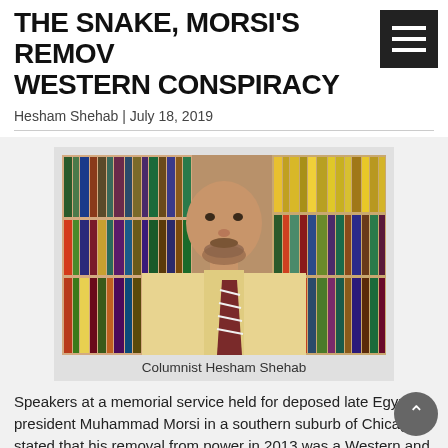THE SNAKE, MORSI'S REMOVAL WESTERN CONSPIRACY
Hesham Shehab | July 18, 2019
[Figure (photo): Portrait photo of Columnist Hesham Shehab standing in front of a bookshelf filled with books]
Columnist Hesham Shehab
Speakers at a memorial service held for deposed late Egyptian president Muhammad Morsi in a southern suburb of Chicago stated that his removal from power in 2013 was a Western and